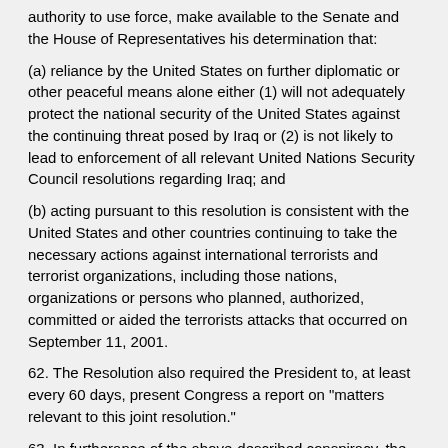authority to use force, make available to the Senate and the House of Representatives his determination that:
(a) reliance by the United States on further diplomatic or other peaceful means alone either (1) will not adequately protect the national security of the United States against the continuing threat posed by Iraq or (2) is not likely to lead to enforcement of all relevant United Nations Security Council resolutions regarding Iraq; and
(b) acting pursuant to this resolution is consistent with the United States and other countries continuing to take the necessary actions against international terrorists and terrorist organizations, including those nations, organizations or persons who planned, authorized, committed or aided the terrorists attacks that occurred on September 11, 2001.
62. The Resolution also required the President to, at least every 60 days, present Congress a report on "matters relevant to this joint resolution."
63. In furtherance of the above-described conspiracy, the defendants and their coconspirators committed and caused to be committed the following overt acts:
Overt Acts
A. On December 9, 2001, CHENEY announced on NBC's Meet the Press that "it was pretty well confirmed" that lead 9/11 hijacker Mohamed Atta had